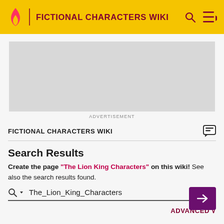FICTIONAL CHARACTERS WIKI
[Figure (other): Advertisement placeholder box (gray rectangle)]
ADVERTISEMENT
FICTIONAL CHARACTERS WIKI
Search Results
Create the page "The Lion King Characters" on this wiki! See also the search results found.
The_Lion_King_Characters